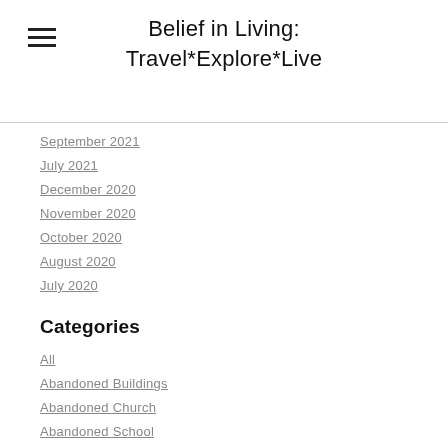Belief in Living: Travel*Explore*Live
September 2021
July 2021
December 2020
November 2020
October 2020
August 2020
July 2020
Categories
All
Abandoned Buildings
Abandoned Church
Abandoned School
Accidents
American Museum Of Glass
Amish
Appalachian Trail